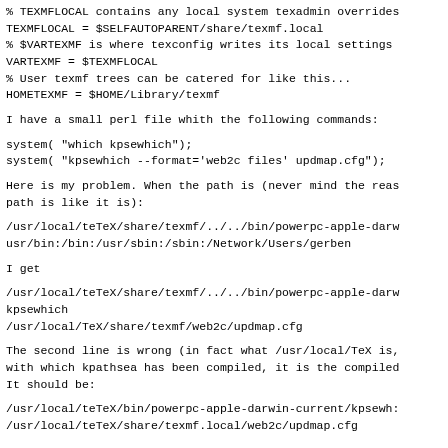% TEXMFLOCAL contains any local system texadmin overrides
TEXMFLOCAL = $SELFAUTOPARENT/share/texmf.local
% $VARTEXMF is where texconfig writes its local settings
VARTEXMF = $TEXMFLOCAL
% User texmf trees can be catered for like this...
HOMETEXMF = $HOME/Library/texmf
I have a small perl file whith the following commands:
system( "which kpsewhich");
system( "kpsewhich --format='web2c files' updmap.cfg");
Here is my problem. When the path is (never mind the reas
path is like it is):
/usr/local/teTeX/share/texmf/../../bin/powerpc-apple-darw
usr/bin:/bin:/usr/sbin:/sbin:/Network/Users/gerben
I get
/usr/local/teTeX/share/texmf/../../bin/powerpc-apple-darw
kpsewhich
/usr/local/TeX/share/texmf/web2c/updmap.cfg
The second line is wrong (in fact what /usr/local/TeX is,
with which kpathsea has been compiled, it is the compiled
It should be:
/usr/local/teTeX/bin/powerpc-apple-darwin-current/kpsewh:
/usr/local/teTeX/share/texmf.local/web2c/updmap.cfg